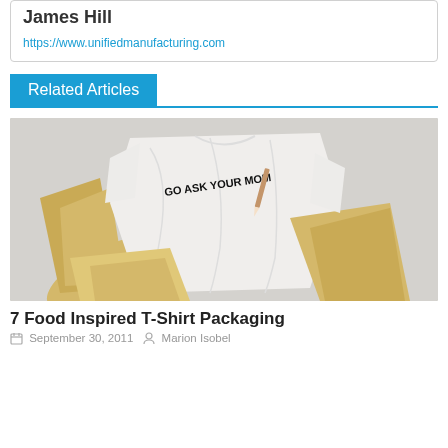James Hill
https://www.unifiedmanufacturing.com
Related Articles
[Figure (photo): A white t-shirt with 'GO ASK YOUR MOM' printed on it, laid flat among yellow paper cones/food packaging on a light grey background.]
7 Food Inspired T-Shirt Packaging
September 30, 2011   Marion Isobel